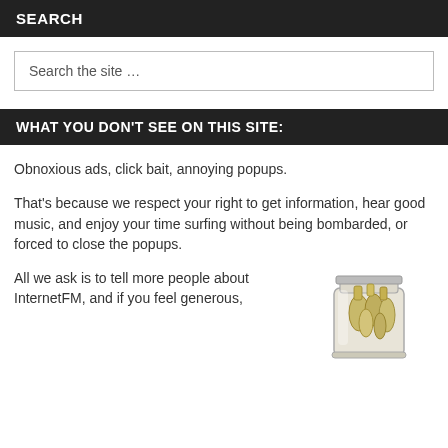SEARCH
Search the site …
WHAT YOU DON'T SEE ON THIS SITE:
Obnoxious ads, click bait, annoying popups.
That's because we respect your right to get information, hear good music, and enjoy your time surfing without being bombarded, or forced to close the popups.
All we ask is to tell more people about InternetFM, and if you feel generous,
[Figure (photo): A glass mason jar filled with rolled-up paper currency bills.]